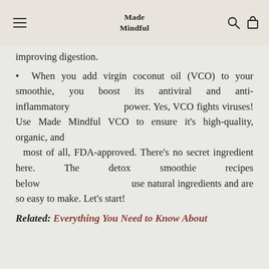Made Mindful
improving digestion.
When you add virgin coconut oil (VCO) to your smoothie, you boost its antiviral and anti-inflammatory power. Yes, VCO fights viruses! Use Made Mindful VCO to ensure it's high-quality, organic, and most of all, FDA-approved. There's no secret ingredient here. The detox smoothie recipes below use natural ingredients and are so easy to make. Let's start!
Related: Everything You Need to Know About